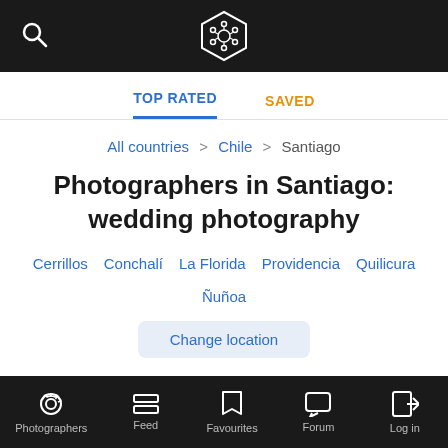MyWed app top navigation bar with search icon and logo
TOP RATED | SAVED
All countries > Chile > Santiago
Photographers in Santiago: wedding photography
Cerrillos  Conchalí  La Florida  Providencia  Quilicura  Ñuñoa
Change location
To make your wedding photo shoot spectacular, you must carefully select a professional wedding photographer in Santiago de Chile. The MyWed directory will ease the search with the
Photographers  Feed  Favourites  Forum  Log in